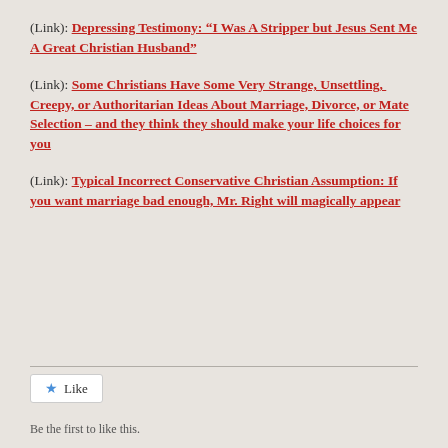(Link):  Depressing Testimony: “I Was A Stripper but Jesus Sent Me A Great Christian Husband”
(Link):  Some Christians Have Some Very Strange, Unsettling,  Creepy, or Authoritarian Ideas About Marriage, Divorce, or Mate Selection – and they think they should make your life choices for you
(Link):  Typical Incorrect Conservative Christian Assumption: If you want marriage bad enough, Mr. Right will magically appear
Like
Be the first to like this.